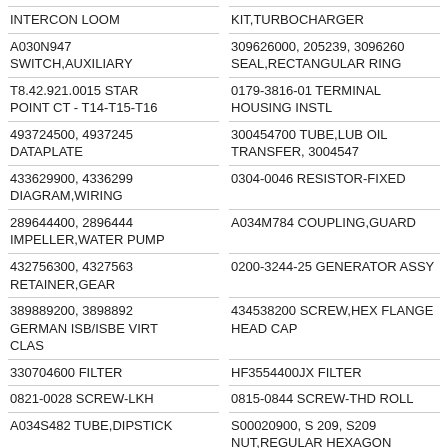INTERCON LOOM
KIT,TURBOCHARGER
A030N947 SWITCH,AUXILIARY
309626000, 205239, 3096260 SEAL,RECTANGULAR RING
T8.42.921.0015 STAR POINT CT - T14-T15-T16
0179-3816-01 TERMINAL HOUSING INSTL
493724500, 4937245 DATAPLATE
300454700 TUBE,LUB OIL TRANSFER, 3004547
433629900, 4336299 DIAGRAM,WIRING
0304-0046 RESISTOR-FIXED
289644400, 2896444 IMPELLER,WATER PUMP
A034M784 COUPLING,GUARD
432756300, 4327563 RETAINER,GEAR
0200-3244-25 GENERATOR ASSY
389889200, 3898892 GERMAN ISB/ISBE VIRT CLAS
434538200 SCREW,HEX FLANGE HEAD CAP
330704600 FILTER
HF3554400JX FILTER
0821-0028 SCREW-LKH
0815-0844 SCREW-THD ROLL
A034S482 TUBE,DIPSTICK
S00020900, S 209, S209 NUT,REGULAR HEXAGON
496537200, 4965372 MODULE,INLET
5317313 RETAINER,BEARING,
003-01068 RING TERMNL TU300-12
397082300, 3970823 TUBE,LUB OIL DRAIN